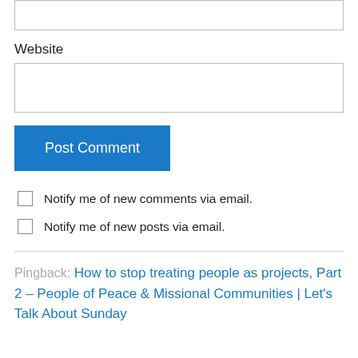Website
Post Comment
Notify me of new comments via email.
Notify me of new posts via email.
Pingback: How to stop treating people as projects, Part 2 – People of Peace & Missional Communities | Let's Talk About Sunday